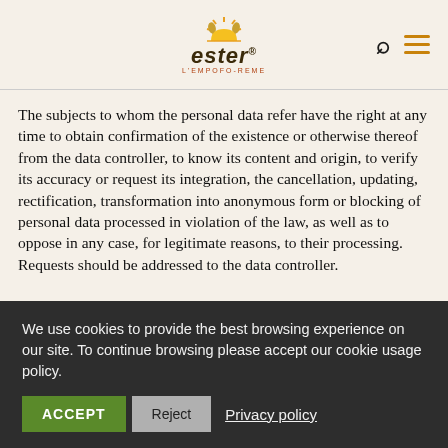ester - L'EMPOFO-REME
The subjects to whom the personal data refer have the right at any time to obtain confirmation of the existence or otherwise thereof from the data controller, to know its content and origin, to verify its accuracy or request its integration, the cancellation, updating, rectification, transformation into anonymous form or blocking of personal data processed in violation of the law, as well as to oppose in any case, for legitimate reasons, to their processing. Requests should be addressed to the data controller.
We use cookies to provide the best browsing experience on our site. To continue browsing please accept our cookie usage policy.
ACCEPT  Reject  Privacy policy